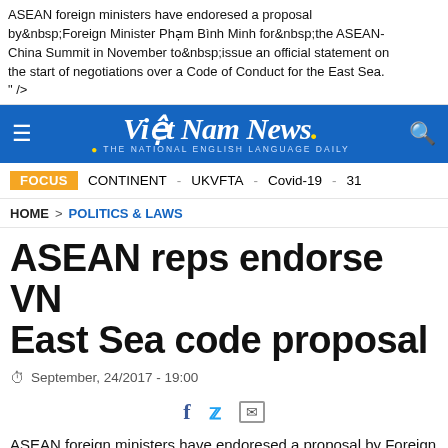ASEAN foreign ministers have endoresed a proposal by&nbsp;Foreign Minister Phạm Bình Minh for&nbsp;the ASEAN-China Summit in November to&nbsp;issue an official statement on the start of negotiations over a Code of Conduct for the East Sea. " />
[Figure (screenshot): Việt Nam News navigation bar - blue background with hamburger menu on left, 'Việt Nam News. THE NATIONAL ENGLISH LANGUAGE DAILY' in white/yellow on center, search icon on right]
FOCUS  CONTINENT  -  UKVFTA  -  Covid-19  -  31
HOME > POLITICS & LAWS
ASEAN reps endorse VN East Sea code proposal
September, 24/2017 - 19:00
ASEAN foreign ministers have endoresed a proposal by Foreign minister...